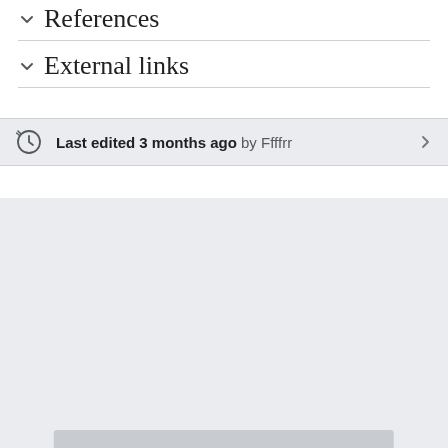References
External links
Last edited 3 months ago by Ffffrr